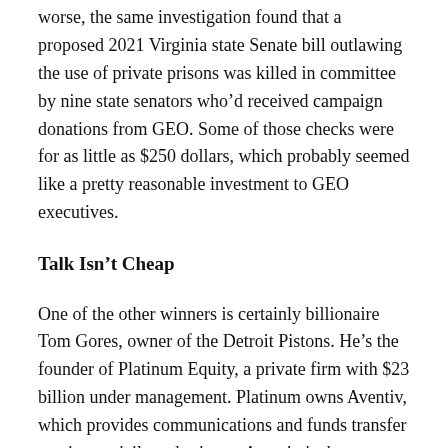worse, the same investigation found that a proposed 2021 Virginia state Senate bill outlawing the use of private prisons was killed in committee by nine state senators who'd received campaign donations from GEO. Some of those checks were for as little as $250 dollars, which probably seemed like a pretty reasonable investment to GEO executives.
Talk Isn't Cheap
One of the other winners is certainly billionaire Tom Gores, owner of the Detroit Pistons. He's the founder of Platinum Equity, a private firm with $23 billion under management. Platinum owns Aventiv, which provides communications and funds transfer services to jails and prisons. Aventiv is the parent company of both Securus Technologies and JPay, both of which gouge prisoners and families for their monopolistic services.